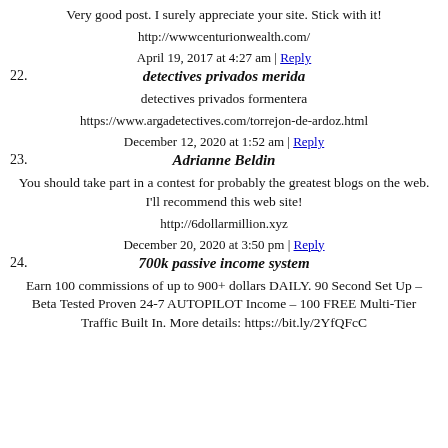Very good post. I surely appreciate your site. Stick with it!
http://wwwcenturionwealth.com/
April 19, 2017 at 4:27 am | Reply
22. detectives privados merida
detectives privados formentera
https://www.argadetectives.com/torrejon-de-ardoz.html
December 12, 2020 at 1:52 am | Reply
23. Adrianne Beldin
You should take part in a contest for probably the greatest blogs on the web. I’ll recommend this web site!
http://6dollarmillion.xyz
December 20, 2020 at 3:50 pm | Reply
24. 700k passive income system
Earn 100 commissions of up to 900+ dollars DAILY. 90 Second Set Up – Beta Tested Proven 24-7 AUTOPILOT Income – 100 FREE Multi-Tier Traffic Built In. More details: https://bit.ly/2YfQFcC